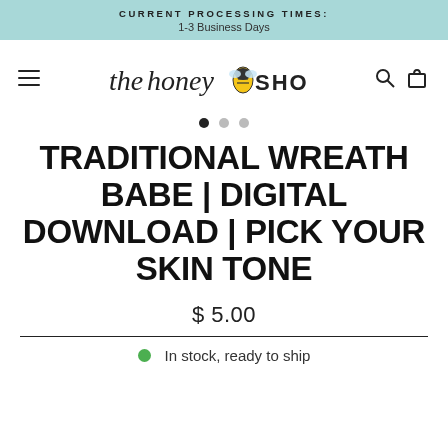CURRENT PROCESSING TIMES: 1-3 Business Days
[Figure (logo): The Honey Shop logo with script text and bee icon]
TRADITIONAL WREATH BABE | DIGITAL DOWNLOAD | PICK YOUR SKIN TONE
$ 5.00
In stock, ready to ship